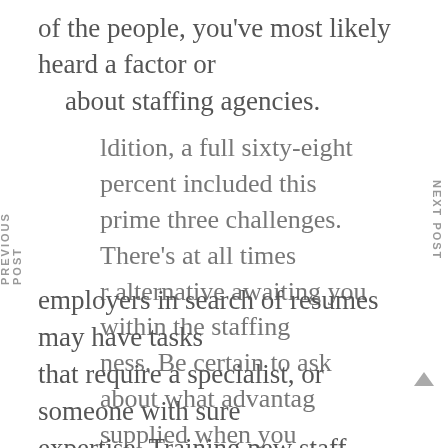of the people, you've most likely heard a factor or about staffing agencies.
ldition, a full sixty-eight percent included this prime three challenges. There's at all times r alternative awaiting you within the staffing ness. Be certain to ask about what advantag supplied when you interview. Sometimes employers in search of resumes may have tasks that require a specialist, or someone with sure expertise. Training new staff require a big investment of each time and costs. Regardless of